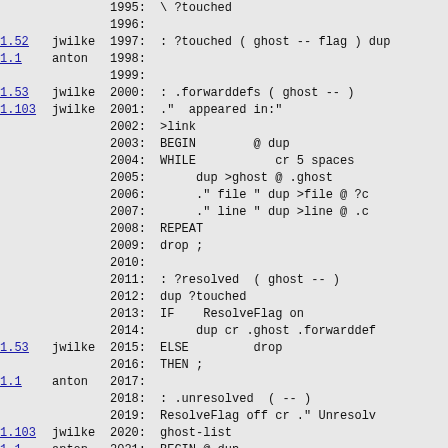| version | author | line | code |
| --- | --- | --- | --- |
|  |  | 1995: | \ ?touched |
|  |  | 1996: |  |
| 1.52 | jwilke | 1997: | : ?touched ( ghost -- flag ) dup |
| 1.1 | anton | 1998: |  |
|  |  | 1999: |  |
| 1.53 | jwilke | 2000: | : .forwarddefs ( ghost -- ) |
| 1.103 | jwilke | 2001: | ."  appeared in:" |
|  |  | 2002: | >link |
|  |  | 2003: | BEGIN        @ dup |
|  |  | 2004: | WHILE           cr 5 spaces |
|  |  | 2005: |      dup >ghost @ .ghost |
|  |  | 2006: |      ." file " dup >file @ ?c |
|  |  | 2007: |      ." line " dup >line @ .c |
|  |  | 2008: | REPEAT |
|  |  | 2009: | drop ; |
|  |  | 2010: |  |
|  |  | 2011: | : ?resolved  ( ghost -- ) |
|  |  | 2012: | dup ?touched |
|  |  | 2013: | IF    ResolveFlag on |
|  |  | 2014: |      dup cr .ghost .forwarddef |
| 1.53 | jwilke | 2015: | ELSE         drop |
|  |  | 2016: | THEN ; |
| 1.1 | anton | 2017: |  |
|  |  | 2018: | : .unresolved  ( -- ) |
|  |  | 2019: | ResolveFlag off cr ." Unresolv |
| 1.103 | jwilke | 2020: | ghost-list |
| 1.1 | anton | 2021: | BEGIN @ dup |
|  |  | 2022: | WHILE dup ?resolved |
| 1.10 | anton | 2023: | REPEAT drop ResolveFlag @ |
|  |  | 2024: | IF |